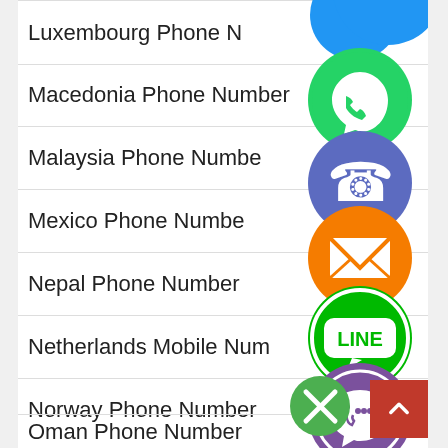Luxembourg Phone Number
Macedonia Phone Number
Malaysia Phone Number
Mexico Phone Number
Nepal Phone Number
Netherlands Mobile Number
Norway Phone Number
Oman Phone Number
[Figure (screenshot): Social media sharing icons (WhatsApp, Phone/Viber, Email, LINE, Viber, Close) floating over a navigation list of phone number categories by country]